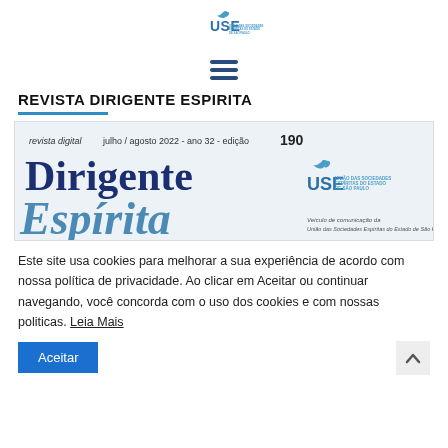[Figure (logo): USE logo - União das Sociedades Espíritas do Estado de São Paulo, with bird/wing icon above the text]
[Figure (other): Hamburger menu icon (three horizontal lines)]
REVISTA DIRIGENTE ESPIRITA
[Figure (other): Magazine cover of Dirigente Espírita - revista digital, julho/agosto 2022 - ano 32 - edição 190. Shows the title 'Dirigente Espírita' in large blue/navy text, with USE logo and subtitle 'Veículo de comunicação da União das Sociedades Espíritas do Estado de São Paulo']
Este site usa cookies para melhorar a sua experiência de acordo com nossa política de privacidade. Ao clicar em Aceitar ou continuar navegando, você concorda com o uso dos cookies e com nossas politicas. Leia Mais
Aceitar